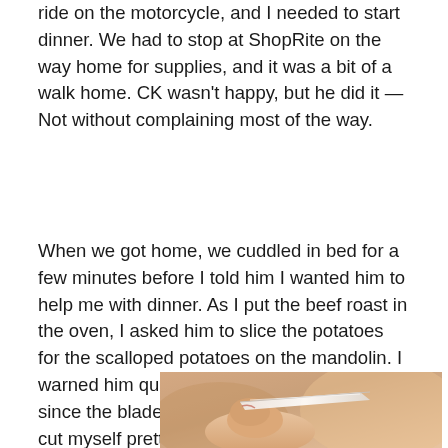ride on the motorcycle, and I needed to start dinner. We had to stop at ShopRite on the way home for supplies, and it was a bit of a walk home. CK wasn't happy, but he did it — Not without complaining most of the way.
When we got home, we cuddled in bed for a few minutes before I told him I wanted him to help me with dinner. As I put the beef roast in the oven, I asked him to slice the potatoes for the scalloped potatoes on the mandolin. I warned him quite pointedly to be careful since the blade was so sharp, and I'd already cut myself pretty severely on it once, as did my mother. When he was cutting the last potato, he sliced his finger pretty badly.
[Figure (photo): Close-up photo of a finger being cut by a mandolin slicer blade, showing hands and a thin sharp blade slicing through skin.]